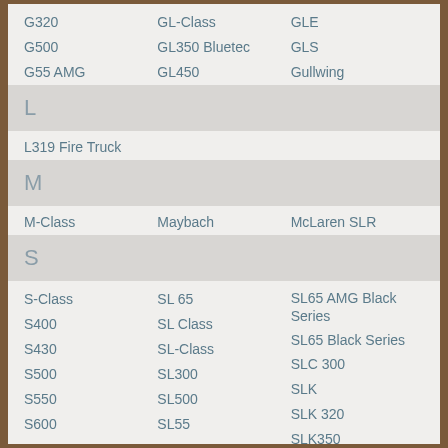G320
GL-Class
GLE
G500
GL350 Bluetec
GLS
G55 AMG
GL450
Gullwing
L
L319 Fire Truck
M
M-Class
Maybach
McLaren SLR
S
S-Class
SL 65
SL65 AMG Black Series
S400
SL Class
SL65 Black Series
S430
SL-Class
SLC 300
S500
SL300
SLK
S550
SL500
SLK 320
S600
SL55
SLK350
S63
SL550
SLK55 AMG
S65
SL600
SLR McLaren
SL
SL600 V12
SLS
SL 500
SL63 AMG